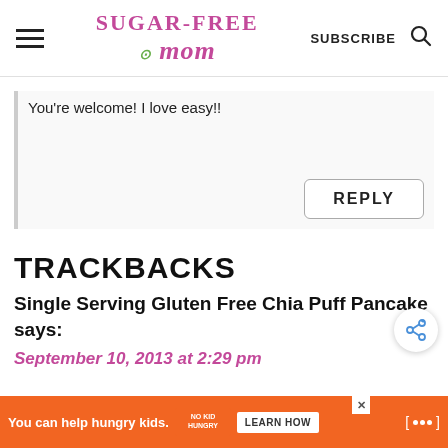Sugar-Free Mom — SUBSCRIBE
You're welcome! I love easy!!
REPLY
TRACKBACKS
Single Serving Gluten Free Chia Puff Pancake says:
September 10, 2013 at 2:29 pm
You can help hungry kids. NO KID HUNGRY LEARN HOW